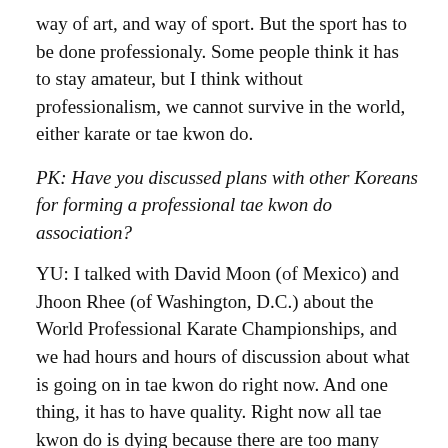way of art, and way of sport. But the sport has to be done professionaly. Some people think it has to stay amateur, but I think without professionalism, we cannot survive in the world, either karate or tae kwon do.
PK: Have you discussed plans with other Koreans for forming a professional tae kwon do association?
YU: I talked with David Moon (of Mexico) and Jhoon Rhee (of Washington, D.C.) about the World Professional Karate Championships, and we had hours and hours of discussion about what is going on in tae kwon do right now. And one thing, it has to have quality. Right now all tae kwon do is dying because there are too many baloney instructors, baloney people hanging around tae kwon do. What is the cure? I'm really, really sad about it. Now, look at Jhoon Rhee. He made it great; he built up tae kwon